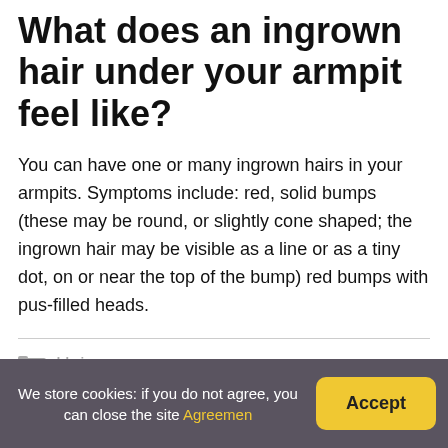What does an ingrown hair under your armpit feel like?
You can have one or many ingrown hairs in your armpits. Symptoms include: red, solid bumps (these may be round, or slightly cone shaped; the ingrown hair may be visible as a line or as a tiny dot, on or near the top of the bump) red bumps with pus-filled heads.
Hair
We store cookies: if you do not agree, you can close the site Agreemen